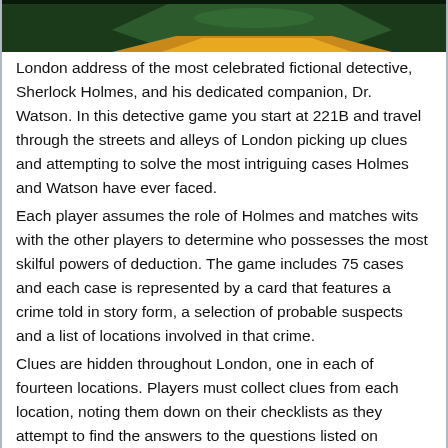[Figure (photo): Top portion of a board game box with dark green and orange/gold coloring, partially cropped at the top of the page.]
London address of the most celebrated fictional detective, Sherlock Holmes, and his dedicated companion, Dr. Watson. In this detective game you start at 221B and travel through the streets and alleys of London picking up clues and attempting to solve the most intriguing cases Holmes and Watson have ever faced.
Each player assumes the role of Holmes and matches wits with the other players to determine who possesses the most skilful powers of deduction. The game includes 75 cases and each case is represented by a card that features a crime told in story form, a selection of probable suspects and a list of locations involved in that crime.
Clues are hidden throughout London, one in each of fourteen locations. Players must collect clues from each location, noting them down on their checklists as they attempt to find the answers to the questions listed on